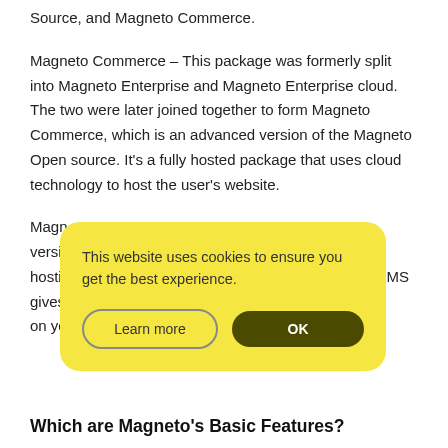Source, and Magneto Commerce.
Magneto Commerce – This package was formerly split into Magneto Enterprise and Magneto Enterprise cloud. The two were later joined together to form Magneto Commerce, which is an advanced version of the Magneto Open source. It's a fully hosted package that uses cloud technology to host the user's website.
Magn[eto Open Source – This is the free e source version of Magneto. It is self-hosted open source hosting platform for online stores. This e-commerce CMS gives [you complete control over customizations on yo[ur website.
[Figure (screenshot): Cookie consent popup with yellow background. Text reads: 'This website uses cookies to ensure you get the best experience.' Two buttons: 'Learn more' (outlined) and 'OK' (dark olive filled).]
Which are Magneto's Basic Features?